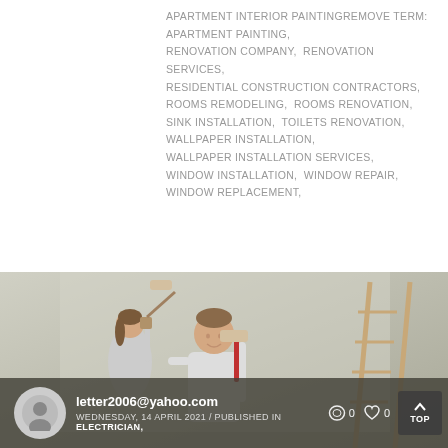APARTMENT INTERIOR PAINTINGREMOVE TERM: APARTMENT PAINTING,  RENOVATION COMPANY,  RENOVATION SERVICES,  RESIDENTIAL CONSTRUCTION CONTRACTORS,  ROOMS REMODELING,  ROOMS RENOVATION,  SINK INSTALLATION,  TOILETS RENOVATION,  WALLPAPER INSTALLATION,  WALLPAPER INSTALLATION SERVICES,  WINDOW INSTALLATION,  WINDOW REPAIR,  WINDOW REPLACEMENT,
[Figure (photo): Photo of two painters in white clothes holding paint rollers, smiling, with a ladder in the background. Semi-transparent dark overlay at bottom.]
letter2006@yahoo.com
WEDNESDAY, 14 APRIL 2021 / PUBLISHED IN ELECTRICIAN,